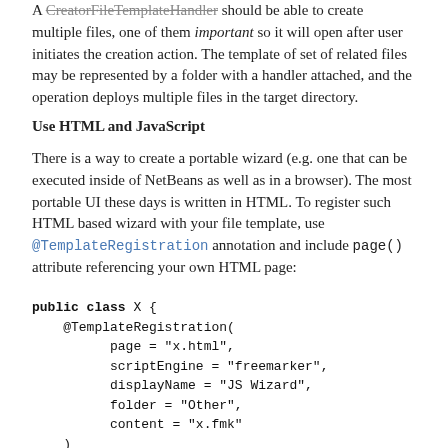A CreatorFileTemplateHandler should be able to create multiple files, one of them important so it will open after user initiates the creation action. The template of set of related files may be represented by a folder with a handler attached, and the operation deploys multiple files in the target directory.
Use HTML and JavaScript
There is a way to create a portable wizard (e.g. one that can be executed inside of NetBeans as well as in a browser). The most portable UI these days is written in HTML. To register such HTML based wizard with your file template, use @TemplateRegistration annotation and include page() attribute referencing your own HTML page:
[Figure (other): Code block showing a Java class with @TemplateRegistration annotation and public static String jsWizard() method]